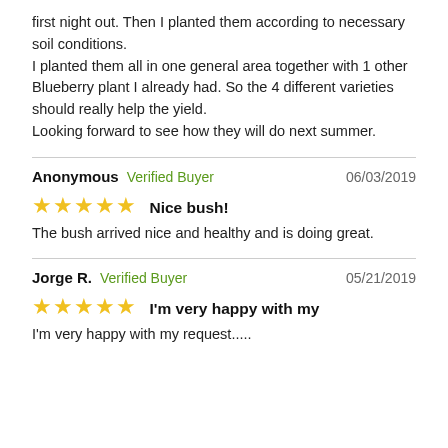first night out. Then I planted them according to necessary soil conditions.
I planted them all in one general area together with 1 other Blueberry plant I already had. So the 4 different varieties should really help the yield.
Looking forward to see how they will do next summer.
Anonymous  Verified Buyer  06/03/2019
★★★★★  Nice bush!  The bush arrived nice and healthy and is doing great.
Jorge R.  Verified Buyer  05/21/2019
★★★★★  I'm very happy with my  I'm very happy with my request.....